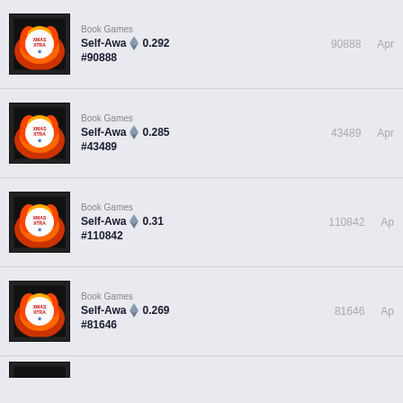Book Games | Self-Awa... #90888 | 0.292 | 90888 | Apr
Book Games | Self-Awa... #43489 | 0.285 | 43489 | Apr
Book Games | Self-Awa... #110842 | 0.31 | 110842 | Ap
Book Games | Self-Awa... #81646 | 0.269 | 81646 | Ap
Book Games | (partial)